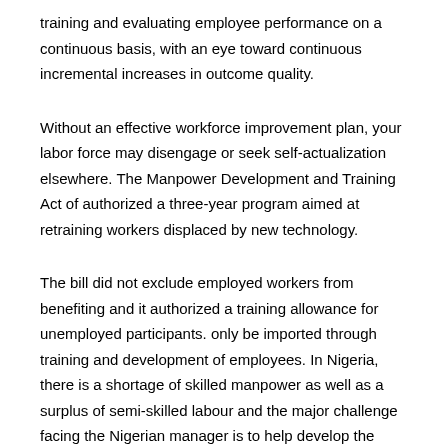training and evaluating employee performance on a continuous basis, with an eye toward continuous incremental increases in outcome quality.
Without an effective workforce improvement plan, your labor force may disengage or seek self-actualization elsewhere. The Manpower Development and Training Act of authorized a three-year program aimed at retraining workers displaced by new technology.
The bill did not exclude employed workers from benefiting and it authorized a training allowance for unemployed participants. only be imported through training and development of employees. In Nigeria, there is a shortage of skilled manpower as well as a surplus of semi-skilled labour and the major challenge facing the Nigerian manager is to help develop the skills of the nation's existing manpower and at the.
Public Health Rep. Mar-Apr;92(2) Training the nation's health manpower--the next 4 years. Whiteside DF. PMCID: PMC PMID. Search the world's most comprehensive index of full-text books. My library. in the systems planned ' manpower allocation, personnel services and retraining.b